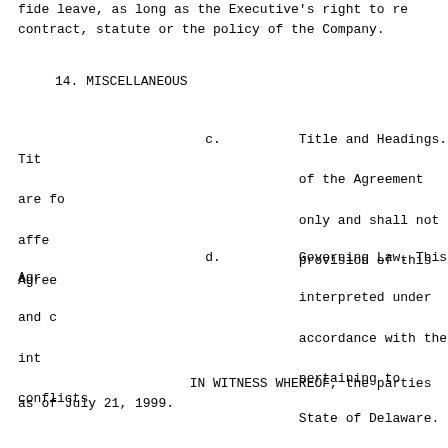fide leave, as long as the Executive's right to re contract, statute or the policy of the Company.
14. MISCELLANEOUS
c.    Title and Headings. Tit of the Agreement are fo only and shall not affe provision of this Agree
d.    Governing Law. This Agr interpreted under and c accordance with the int pertaining to conflicts State of Delaware.
IN WITNESS WHEREOF, the parties as of July 21, 1999.